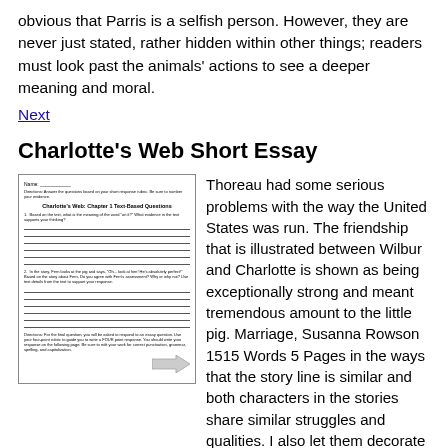obvious that Parris is a selfish person. However, they are never just stated, rather hidden within other things; readers must look past the animals' actions to see a deeper meaning and moral.
Next
Charlotte's Web Short Essay
[Figure (other): A worksheet titled 'Charlotte's Web: Chapter 1 Text-Based Questions' with directions, questions, answer lines, and an arrow at the bottom.]
Thoreau had some serious problems with the way the United States was run. The friendship that is illustrated between Wilbur and Charlotte is shown as being exceptionally strong and meant tremendous amount to the little pig. Marriage, Susanna Rowson 1515 Words 5 Pages in the ways that the story line is similar and both characters in the stories share similar struggles and qualities. I also let them decorate the cover with the characters and setting from the story. Another significant lesson that this book teaches is that friendship is one of most important